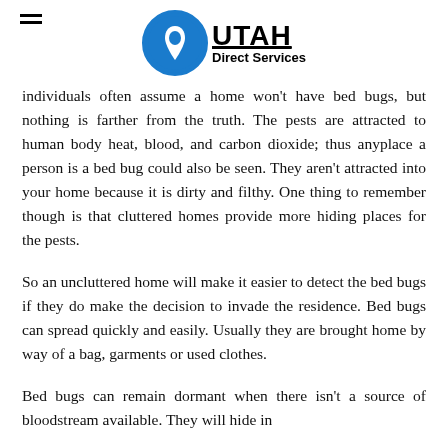Utah Direct Services
Individuals often assume a home won't have bed bugs, but nothing is farther from the truth. The pests are attracted to human body heat, blood, and carbon dioxide; thus anyplace a person is a bed bug could also be seen. They aren't attracted into your home because it is dirty and filthy. One thing to remember though is that cluttered homes provide more hiding places for the pests.
So an uncluttered home will make it easier to detect the bed bugs if they do make the decision to invade the residence. Bed bugs can spread quickly and easily. Usually they are brought home by way of a bag, garments or used clothes.
Bed bugs can remain dormant when there isn't a source of bloodstream available. They will hide in